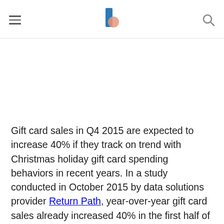Business Insider logo with hamburger menu and search icon
Gift card sales in Q4 2015 are expected to increase 40% if they track on trend with Christmas holiday gift card spending behaviors in recent years. In a study conducted in October 2015 by data solutions provider Return Path, year-over-year gift card sales already increased 40% in the first half of 2015. So if the gift